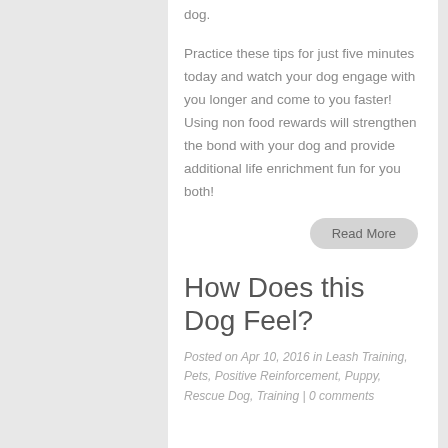dog.
Practice these tips for just five minutes today and watch your dog engage with you longer and come to you faster!  Using non food rewards will strengthen the bond with your dog and provide additional life enrichment fun for you both!
Read More
How Does this Dog Feel?
Posted on Apr 10, 2016 in Leash Training, Pets, Positive Reinforcement, Puppy, Rescue Dog, Training | 0 comments